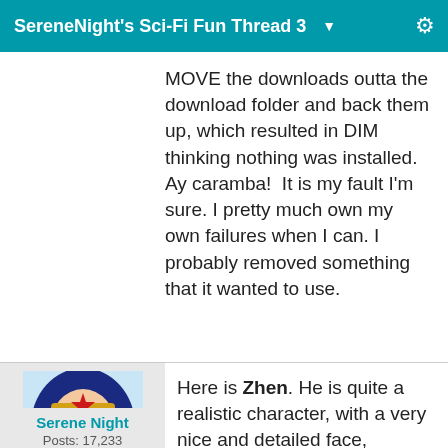SereneNight's Sci-Fi Fun Thread 3
MOVE the downloads outta the download folder and back them up, which resulted in DIM thinking nothing was installed. Ay caramba!  It is my fault I'm sure. I pretty much own my own failures when I can. I probably removed something that it wanted to use.
[Figure (illustration): Avatar of Serene Night - comic book style illustration of Wonder Woman with blue hair, gold tiara with red star, red and gold top]
Serene Night
Posts: 17,233
Here is Zhen. He is quite a realistic character, with a very nice and detailed face, medium build, and a resemblance to an actor. He has no gens at all (😰)